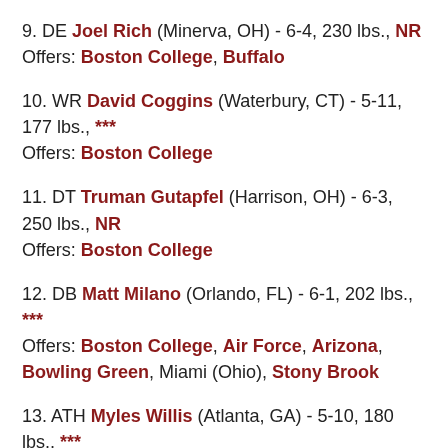9. DE Joel Rich (Minerva, OH) - 6-4, 230 lbs., NR
Offers: Boston College, Buffalo
10. WR David Coggins (Waterbury, CT) - 5-11, 177 lbs., ***
Offers: Boston College
11. DT Truman Gutapfel (Harrison, OH) - 6-3, 250 lbs., NR
Offers: Boston College
12. DB Matt Milano (Orlando, FL) - 6-1, 202 lbs., ***
Offers: Boston College, Air Force, Arizona, Bowling Green, Miami (Ohio), Stony Brook
13. ATH Myles Willis (Atlanta, GA) - 5-10, 180 lbs., ***
Offers: Boston College, Connecticut, Florida State,